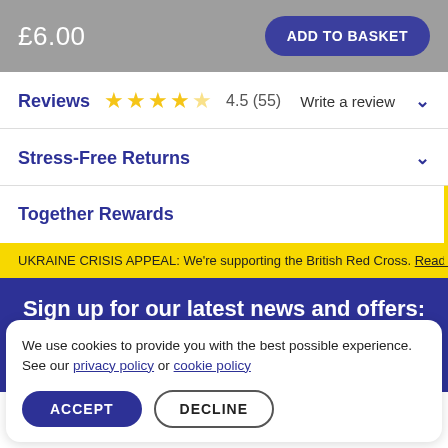£6.00
ADD TO BASKET
Reviews ★★★★½ 4.5 (55) Write a review
Stress-Free Returns
Together Rewards
UKRAINE CRISIS APPEAL: We're supporting the British Red Cross. Read m
Sign up for our latest news and offers:
We use cookies to provide you with the best possible experience. See our privacy policy or cookie policy
ACCEPT
DECLINE